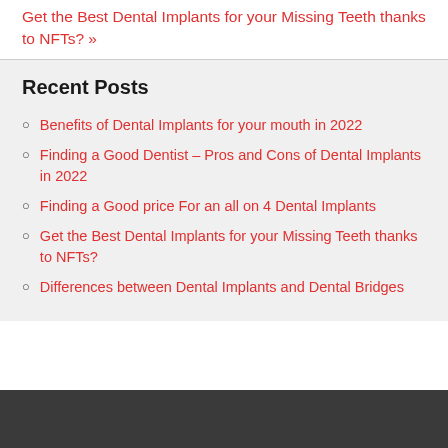Get the Best Dental Implants for your Missing Teeth thanks to NFTs? »
Recent Posts
Benefits of Dental Implants for your mouth in 2022
Finding a Good Dentist – Pros and Cons of Dental Implants in 2022
Finding a Good price For an all on 4 Dental Implants
Get the Best Dental Implants for your Missing Teeth thanks to NFTs?
Differences between Dental Implants and Dental Bridges